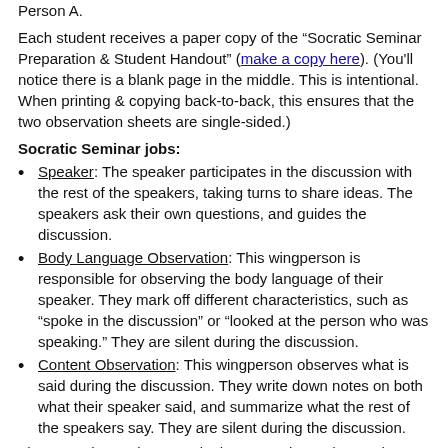Person A.
Each student receives a paper copy of the “Socratic Seminar Preparation & Student Handout” (make a copy here). (You'll notice there is a blank page in the middle. This is intentional. When printing & copying back-to-back, this ensures that the two observation sheets are single-sided.)
Socratic Seminar jobs:
Speaker: The speaker participates in the discussion with the rest of the speakers, taking turns to share ideas. The speakers ask their own questions, and guides the discussion.
Body Language Observation: This wingperson is responsible for observing the body language of their speaker. They mark off different characteristics, such as “spoke in the discussion” or “looked at the person who was speaking.” They are silent during the discussion.
Content Observation: This wingperson observes what is said during the discussion. They write down notes on both what their speaker said, and summarize what the rest of the speakers say. They are silent during the discussion.
The Socratic Seminar runs in three rounds, so that each